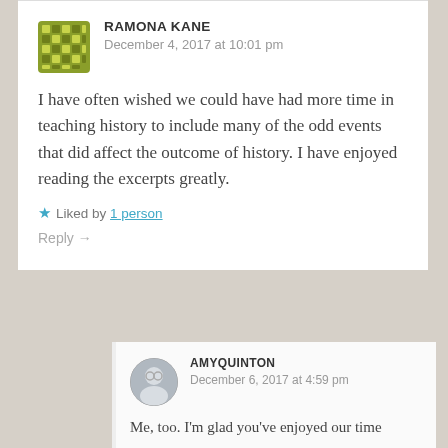RAMONA KANE
December 4, 2017 at 10:01 pm
I have often wished we could have had more time in teaching history to include many of the odd events that did affect the outcome of history. I have enjoyed reading the excerpts greatly.
Liked by 1 person
Reply →
AMYQUINTON
December 6, 2017 at 4:59 pm
Me, too. I'm glad you've enjoyed our time